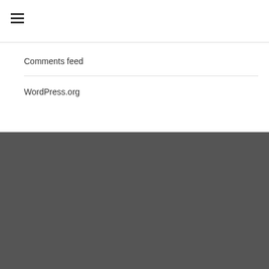[Figure (other): Hamburger menu icon (three horizontal lines)]
Comments feed
WordPress.org
THE LATEST FROM TWITTER
Au Pair in America @aupairamericauk · 26 Aug
Meet Marietta! One of our au pairs with many talents 🎶